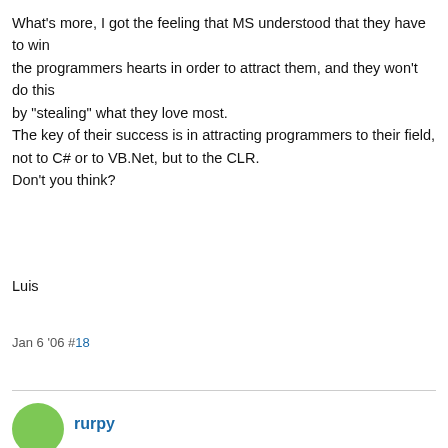What's more, I got the feeling that MS understood that they have to win the programmers hearts in order to attract them, and they won't do this by "stealing" what they love most. The key of their success is in attracting programmers to their field, not to C# or to VB.Net, but to the CLR. Don't you think?
Luis
Jan 6 '06 #18
rurpy